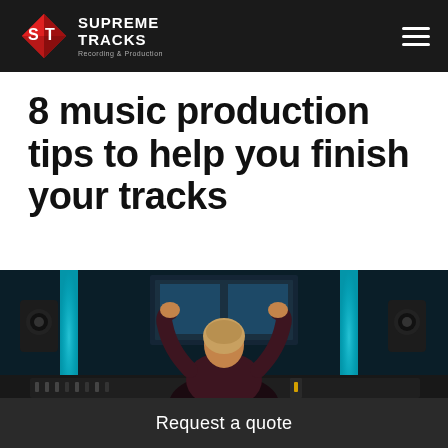Supreme Tracks — Recording & Production
8 music production tips to help you finish your tracks
[Figure (photo): Music producer sitting at a recording studio console with hands raised, viewed from behind, with monitor speakers, large screens showing DAW software, and blue ambient lighting in the background.]
Request a quote